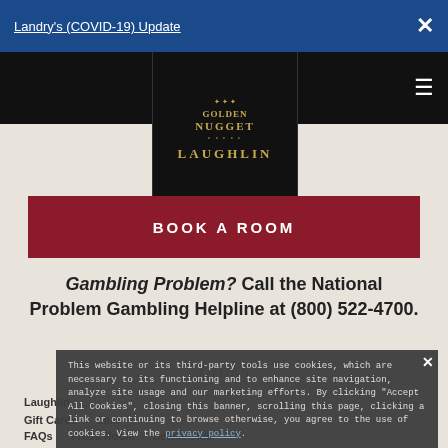Landry's (COVID-19) Update
[Figure (logo): Golden Nugget Laughlin logo — black background with gold ornamental crest, text GOLDEN NUGGET LAUGHLIN in gold lettering]
BOOK A ROOM
Gambling Problem? Call the National Problem Gambling Helpline at (800) 522-4700.
Links
Laughlin
Gift Cards     Club
FAQs     Press Room     Select Club
This website or its third-party tools use cookies, which are necessary to its functioning and to enhance site navigation, analyze site usage and our marketing efforts. By clicking "Accept All Cookies", closing this banner, scrolling this page, clicking a link or continuing to browse otherwise, you agree to the use of cookies. View the privacy policy.
Accept All Cookies